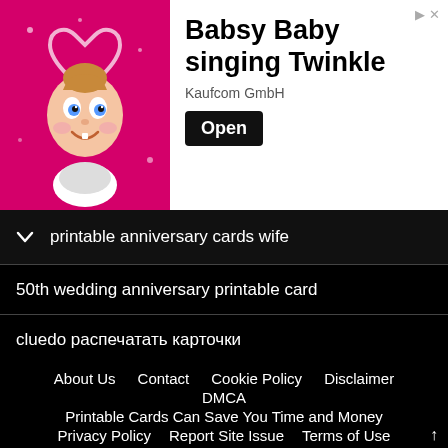[Figure (illustration): Advertisement banner for Babsy Baby singing Twinkle by Kaufcom GmbH, with cartoon baby image on pink background, Open button, and ad arrow icon]
printable anniversary cards wife
50th wedding anniversary printable card
cluedo распечатать карточки
coping skills for ptsd pdf
loteria cards printable free
free printable hawaiian bingo cards
About Us   Contact   Cookie Policy   Disclaimer   DMCA   Printable Cards Can Save You Time and Money   Privacy Policy   Report Site Issue   Terms of Use